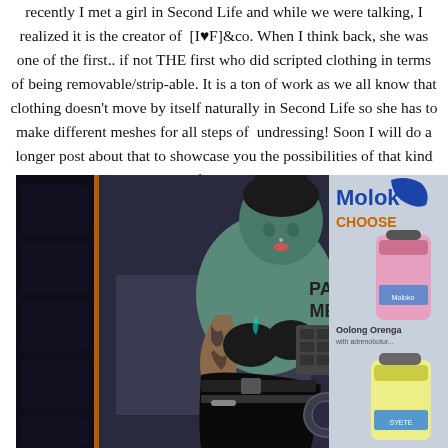recently I met a girl in Second Life and while we were talking, I realized it is the creator of [I♥F]&co. When I think back, she was one of the first.. if not THE first who did scripted clothing in terms of being removable/strip-able. It is a ton of work as we all know that clothing doesn't move by itself naturally in Second Life so she has to make different meshes for all steps of undressing! Soon I will do a longer post about that to showcase you the possibilities of that kind of clothing.
[Figure (photo): A Second Life avatar — a tattooed female character with teal skin accents, dark hair in an updo, wearing a black latex skirt and corset-style top, posed in front of a vending machine that says 'PAY ME!' Next to it is a colorful advertisement poster for 'Moloko' brand featuring spray cans labeled 'Oolong Orenga'.]